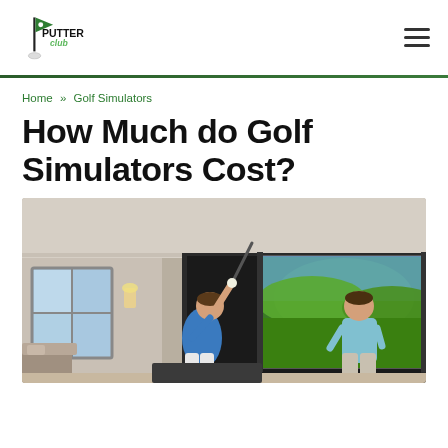Putters Club
Home » Golf Simulators
How Much do Golf Simulators Cost?
[Figure (photo): Two men in an indoor golf simulator room. One man in a blue shirt is mid-swing with a golf club, while another man in a light blue polo shirt watches near a large screen displaying a golf course.]